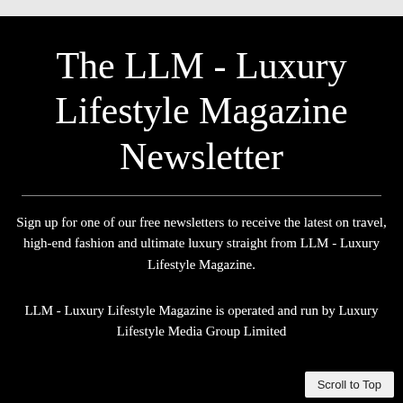The LLM - Luxury Lifestyle Magazine Newsletter
Sign up for one of our free newsletters to receive the latest on travel, high-end fashion and ultimate luxury straight from LLM - Luxury Lifestyle Magazine.
LLM - Luxury Lifestyle Magazine is operated and run by Luxury Lifestyle Media Group Limited